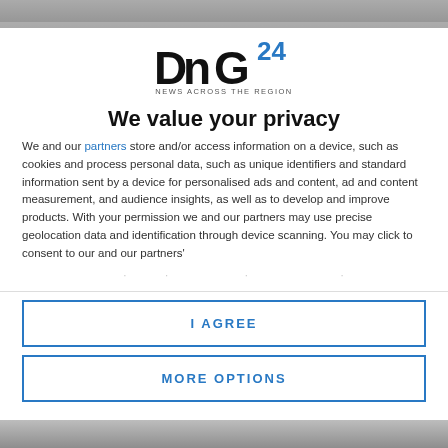[Figure (photo): Partial photo visible at top of page, blurred/cropped]
[Figure (logo): DnG24 logo — DnG in bold black, 24 in blue, NEWS ACROSS THE REGION tagline below]
We value your privacy
We and our partners store and/or access information on a device, such as cookies and process personal data, such as unique identifiers and standard information sent by a device for personalised ads and content, ad and content measurement, and audience insights, as well as to develop and improve products. With your permission we and our partners may use precise geolocation data and identification through device scanning. You may click to consent to our and our partners'
I AGREE
MORE OPTIONS
[Figure (photo): Partial photo visible at bottom of page, blurred/cropped]